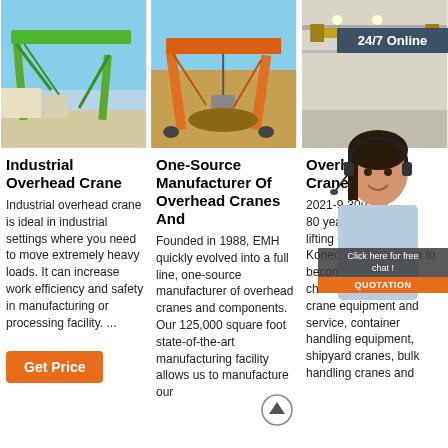[Figure (photo): Green industrial gantry crane outdoors against a blue sky]
[Figure (photo): Orange gantry crane lifting material at a construction site]
[Figure (photo): Yellow overhead crane inside an industrial warehouse, with a 24/7 Online customer service chat overlay showing a woman with headset]
Industrial Overhead Crane
Industrial overhead crane is ideal in industrial settings where you need to move extremely heavy loads. It can increase work efficiency and safety in manufacturing or processing facility. ...
One-Source Manufacturer Of Overhead Cranes And
Founded in 1988, EMH quickly evolved into a full line, one-source manufacturer of overhead cranes and components. Our 125,000 square foot state-of-the-art manufacturing facility allows us to manufacture our
Overhead Cranes
2021-9-30u2003· 80 years lifting equipment, Konecranes has risen to become the world's choice for overhead crane equipment and service, container handling equipment, shipyard cranes, bulk handling cranes and
[Figure (other): Get Price orange button]
[Figure (other): Click here for free chat and QUOTATION overlay with customer service representative]